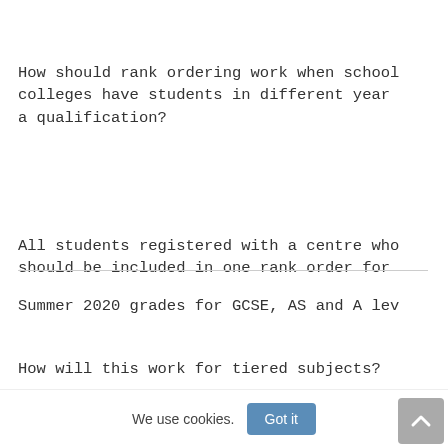How should rank ordering work when school colleges have students in different year a qualification?
All students registered with a centre who should be included in one rank order for
Summer 2020 grades for GCSE, AS and A lev
How will this work for tiered subjects?
In the case of tiered GCSE subjects, scho
We use cookies.